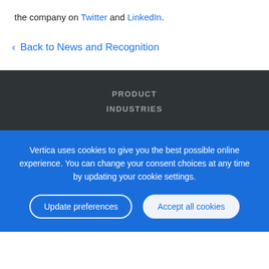the company on Twitter and LinkedIn.
< Back to News and Recognition
PRODUCT
INDUSTRIES
Vertica uses cookies to give you the best possible online experience. You can change your consent choices at any time by updating your cookie settings.
Update preferences
Accept all cookies